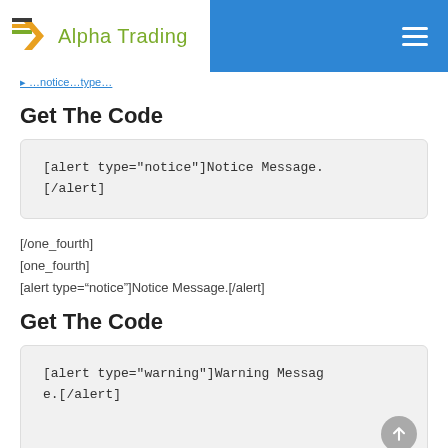Alpha Trading
Get The Code
[alert type="notice"]Notice Message.[/alert]
[/one_fourth]
[one_fourth]
[alert type="notice"]Notice Message.[/alert]
Get The Code
[alert type="warning"]Warning Message.[/alert]